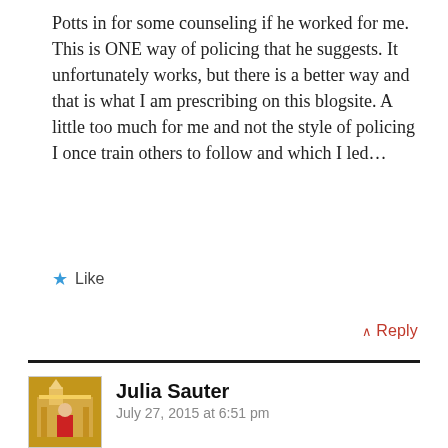Potts in for some counseling if he worked for me. This is ONE way of policing that he suggests. It unfortunately works, but there is a better way and that is what I am prescribing on this blogsite. A little too much for me and not the style of policing I once train others to follow and which I led…
★ Like
↑ Reply
Julia Sauter
July 27, 2015 at 6:51 pm
I'm so glad I found your wordpress and that you're leading a panel at La Casa de Maria in January in Santa Barbara, CA. I became heavily involved in